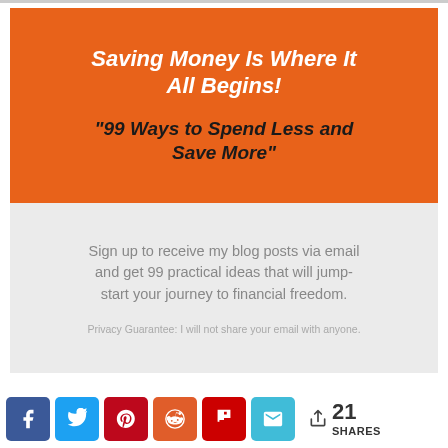Saving Money Is Where It All Begins!
"99 Ways to Spend Less and Save More"
Sign up to receive my blog posts via email and get 99 practical ideas that will jump-start your journey to financial freedom.
Privacy Guarantee: I will not share your email with anyone.
21 SHARES